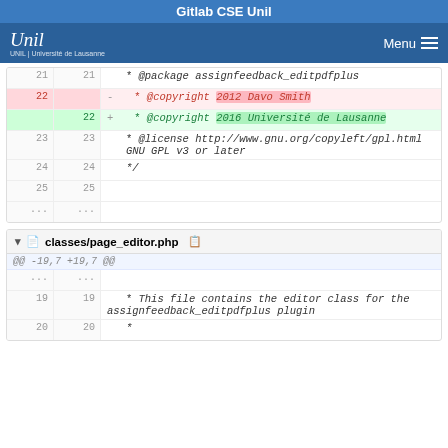Gitlab CSE Unil
[Figure (screenshot): Navigation bar with Unil logo on the left and Menu button on the right, on a blue background]
21  21    * @package assignfeedback_editpdfplus
22  -  * @copyright 2012 Davo Smith
22  +  * @copyright 2016 Université de Lausanne
23  23    * @license http://www.gnu.org/copyleft/gpl.html GNU GPL v3 or later
24  24    */
25  25
... ...
classes/page_editor.php
...  ...  @@ -19,7 +19,7 @@
19  19    * This file contains the editor class for the assignfeedback_editpdfplus plugin
20  20    *